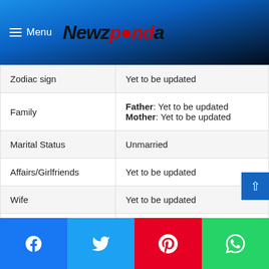Menu  Newzpanda
| Field | Value |
| --- | --- |
| Zodiac sign | Yet to be updated |
| Family | Father: Yet to be updated
Mother: Yet to be updated |
| Marital Status | Unmarried |
| Affairs/Girlfriends | Yet to be updated |
| Wife | Yet to be updated |
| Children | Yet to be updated |
| Religion | Hindu |
| Educational Qualification | Yet to be updated |
Facebook | Twitter | Pinterest | WhatsApp